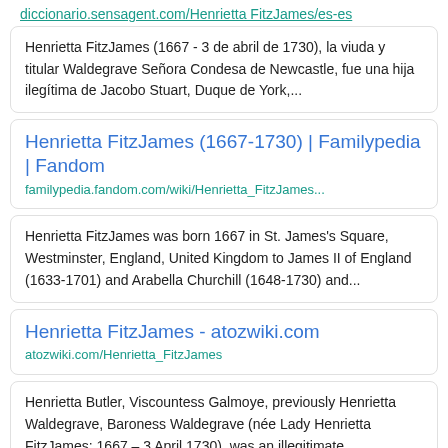diccionario.sensagent.com/Henrietta FitzJames/es-es
Henrietta FitzJames (1667 - 3 de abril de 1730), la viuda y titular Waldegrave Señora Condesa de Newcastle, fue una hija ilegítima de Jacobo Stuart, Duque de York,...
Henrietta FitzJames (1667-1730) | Familypedia | Fandom
familypedia.fandom.com/wiki/Henrietta_FitzJames...
Henrietta FitzJames was born 1667 in St. James's Square, Westminster, England, United Kingdom to James II of England (1633-1701) and Arabella Churchill (1648-1730) and...
Henrietta FitzJames - atozwiki.com
atozwiki.com/Henrietta_FitzJames
Henrietta Butler, Viscountess Galmoye, previously Henrietta Waldegrave, Baroness Waldegrave (née Lady Henrietta FitzJames; 1667 – 3 April 1730), was an illegitimate...